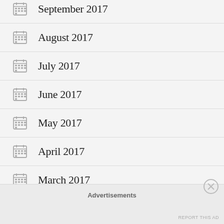September 2017
August 2017
July 2017
June 2017
May 2017
April 2017
March 2017
February 2017
Advertisements
REPORT THIS AD